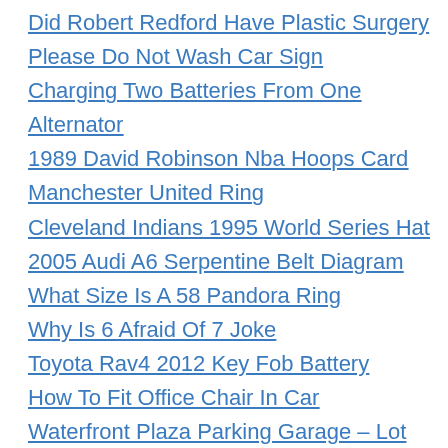Did Robert Redford Have Plastic Surgery
Please Do Not Wash Car Sign
Charging Two Batteries From One Alternator
1989 David Robinson Nba Hoops Card
Manchester United Ring
Cleveland Indians 1995 World Series Hat
2005 Audi A6 Serpentine Belt Diagram
What Size Is A 58 Pandora Ring
Why Is 6 Afraid Of 7 Joke
Toyota Rav4 2012 Key Fob Battery
How To Fit Office Chair In Car
Waterfront Plaza Parking Garage – Lot #55
What Is The Most Expensive Motorcycle